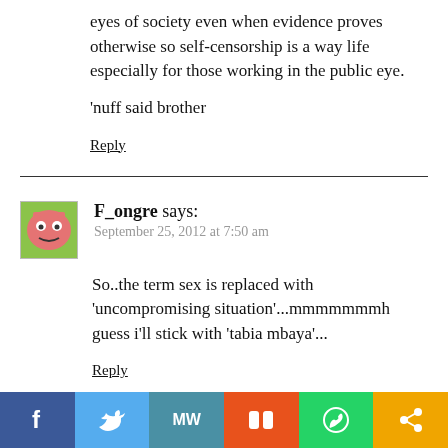eyes of society even when evidence proves otherwise so self-censorship is a way life especially for those working in the public eye.
'nuff said brother
Reply
F_ongre says:
September 25, 2012 at 7:50 am
So..the term sex is replaced with 'uncompromising situation'...mmmmmmmh guess i'll stick with 'tabia mbaya'...
Reply
[Figure (infographic): Social sharing toolbar with icons: Facebook (blue), Twitter (light blue), MW (teal), Stumbleupon (orange), WhatsApp (green), Share (amber/orange)]